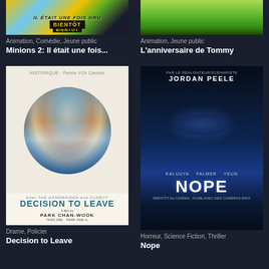[Figure (photo): Minions 2 movie poster thumbnail - colorful yellow and blue psychedelic design with 'BIENTÔT' text]
Animation,  Comédie,  Jeune public
Minions 2: Il était une fois...
[Figure (photo): L'anniversaire de Tommy movie poster thumbnail - green landscape/nature animation]
Animation,  Jeune public
L'anniversaire de Tommy
[Figure (photo): Decision to Leave movie poster - woman's face above circular landscape illustration, Park Chan-wook film]
Drame,  Policier
Decision to Leave
[Figure (photo): Nope movie poster - dark blue/night sky with UFO shape, Jordan Peele film with Keke Palmer, Daniel Kaluuya, Steven Yeun]
Horreur,  Science Fiction,  Thriller
Nope